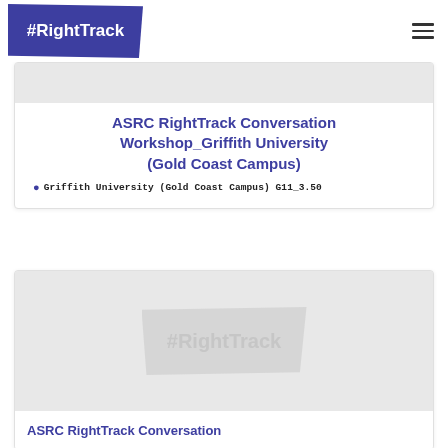#RightTrack
[Figure (logo): Gray placeholder banner image at top of first card]
ASRC RightTrack Conversation Workshop_Griffith University (Gold Coast Campus)
Griffith University (Gold Coast Campus) G11_3.50
[Figure (logo): Gray placeholder card with watermark #RightTrack logo in center]
ASRC RightTrack Conversation